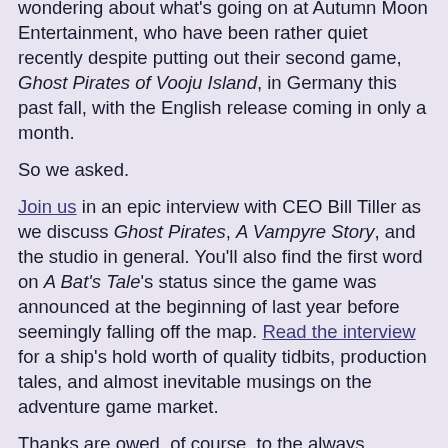wondering about what's going on at Autumn Moon Entertainment, who have been rather quiet recently despite putting out their second game, Ghost Pirates of Vooju Island, in Germany this past fall, with the English release coming in only a month.
So we asked.
Join us in an epic interview with CEO Bill Tiller as we discuss Ghost Pirates, A Vampyre Story, and the studio in general. You'll also find the first word on A Bat's Tale's status since the game was announced at the beginning of last year before seemingly falling off the map. Read the interview for a ship's hold worth of quality tidbits, production tales, and almost inevitable musings on the adventure game market.
Thanks are owed, of course, to the always gracious Bill Tiller and the rest of the Autumn Moon team.
Update: Because you can never get enough Ghost Pirates